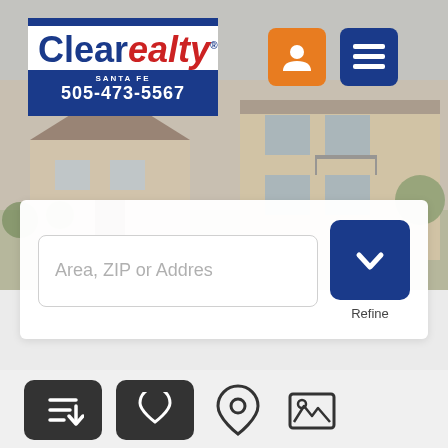[Figure (screenshot): Clearealty real estate website screenshot showing a house hero image background, the Clearealty Santa Fe logo with phone number 505-473-5567, user and menu icons, a search bar with 'Area, ZIP or Addres' placeholder, a Refine button, toolbar icons for sort, favorites, map, and gallery, and result count text '205-216 of 1415 Real Estate Properties found']
Area, ZIP or Addres
Refine
205-216 of 1415 Real Estate Properties found